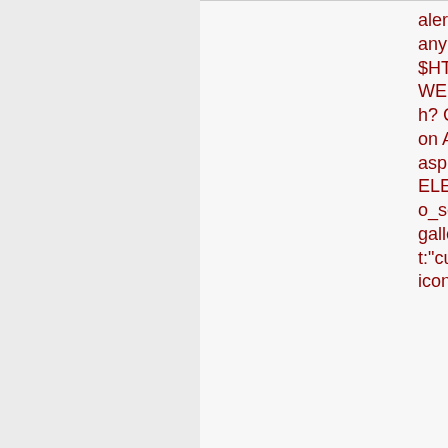alert tcp $EXTERNAL_NET any -> $HTTP_SERVERS $HTTP_PORTS (msg:"ET WEB_SPECIFIC ClickTech? Click Gallery SQL Injection Attempt -- view_gallery.asp currentpage UNION SELECT"; flow:established,to_server; uricontent:"/view_gallery.asp"; nocase; uricontent:"currentpage="; nocase; uricontent:"UNION"; nocase;